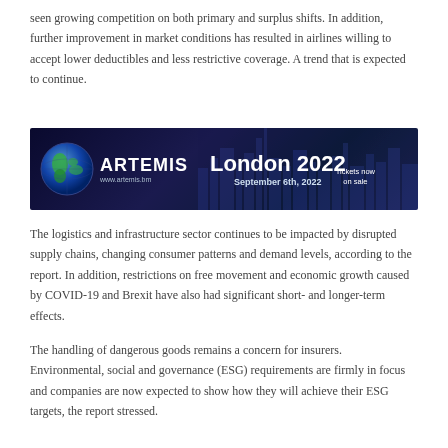seen growing competition on both primary and surplus shifts. In addition, further improvement in market conditions has resulted in airlines willing to accept lower deductibles and less restrictive coverage. A trend that is expected to continue.
[Figure (illustration): Artemis London 2022 event banner. Dark blue background with city skyline silhouette. Globe icon on left, ARTEMIS text with www.artemis.bm URL, London 2022 in large bold text, September 6th 2022 date, and Tickets now on sale text on right.]
The logistics and infrastructure sector continues to be impacted by disrupted supply chains, changing consumer patterns and demand levels, according to the report. In addition, restrictions on free movement and economic growth caused by COVID-19 and Brexit have also had significant short- and longer-term effects.
The handling of dangerous goods remains a concern for insurers. Environmental, social and governance (ESG) requirements are firmly in focus and companies are now expected to show how they will achieve their ESG targets, the report stressed.